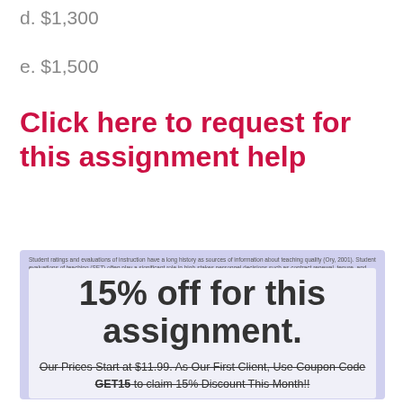d. $1,300
e. $1,500
Click here to request for this assignment help
[Figure (infographic): Promotional overlay on blurred document background. Large text reads '15% off for this assignment.' with a sub-banner: 'Our Prices Start at $11.99. As Our First Client, Use Coupon Code GET15 to claim 15% Discount This Month!!']